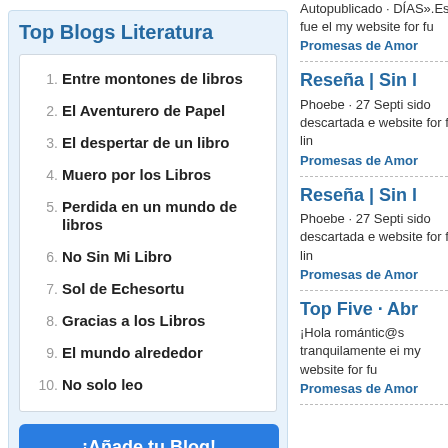Top Blogs Literatura
1. Entre montones de libros
2. El Aventurero de Papel
3. El despertar de un libro
4. Muero por los Libros
5. Perdida en un mundo de libros
6. No Sin Mi Libro
7. Sol de Echesortu
8. Gracias a los Libros
9. El mundo alrededor
10. No solo leo
¡Añade tu Blog!
Ver Todos los blogs
Autopublicado · DÍAS».Ese fue el my website for fu
Promesas de Amor
Reseña | Sin l
Phoebe · 27 Septi sido descartada e website for full lin
Promesas de Amor
Reseña | Sin l
Phoebe · 27 Septi sido descartada e website for full lin
Promesas de Amor
Top Five · Abr
¡Hola romántic@s tranquilamente ei my website for fu
Promesas de Amor